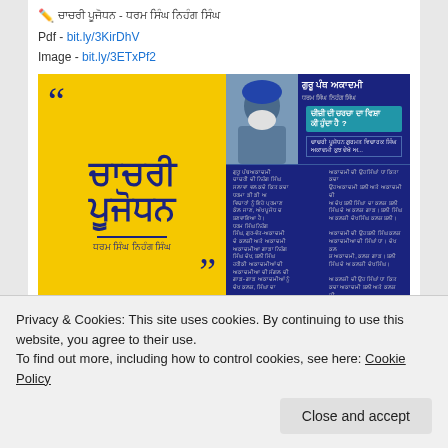✏️ ਚਾਚਰੀ ਪੂਜੋਧਨ - ਧਰਮ ਸਿੰਘ ਨਿਹੰਗ ਸਿੰਘ
Pdf - bit.ly/3KirDhV
Image - bit.ly/3ETxPf2
[Figure (screenshot): A social media post image showing two panels: left panel has yellow background with large Punjabi text 'ਚਾਚਰੀ ਪੂਜੋਧਨ' in dark blue with quotation marks, and author name in Punjabi at bottom; right panel has dark blue background with a photo of a Sikh elder with white beard wearing a blue turban, Punjabi text heading and article text in two columns.]
♡ 5
Privacy & Cookies: This site uses cookies. By continuing to use this website, you agree to their use.
To find out more, including how to control cookies, see here: Cookie Policy
Close and accept